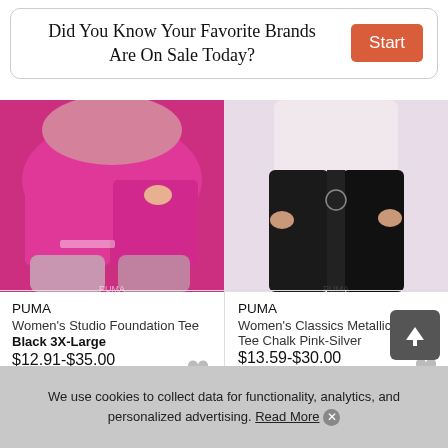Did You Know Your Favorite Brands Are On Sale Today?
[Figure (photo): Woman wearing pink/magenta shorts – left product image]
[Figure (photo): Woman wearing black pants – right product image]
PUMA
Women's Studio Foundation Tee Black 3X-Large
$12.91-$35.00
Note: Prices change frequently
PUMA
Women's Classics Metallic Logo Tee Chalk Pink-Silver
$13.59-$30.00
Note: Prices change frequently
We use cookies to collect data for functionality, analytics, and personalized advertising. Read More